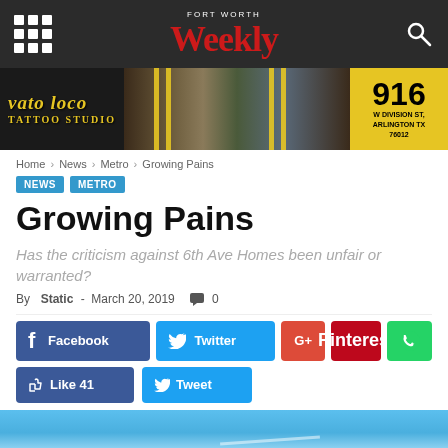FORT WORTH Weekly
[Figure (photo): Vato Loco Tattoo Studio advertisement banner with tattoo artwork and address 916 W Division St, Arlington TX 76012]
Home › News › Metro › Growing Pains
NEWS  METRO
Growing Pains
Has the criticism against 6th Ave Homes been unfair or warranted?
By Static - March 20, 2019  💬 0
[Figure (infographic): Social sharing buttons: Facebook, Twitter, G+, Pinterest, WhatsApp, Like 41, Tweet]
[Figure (photo): Bottom partial image showing blue sky]